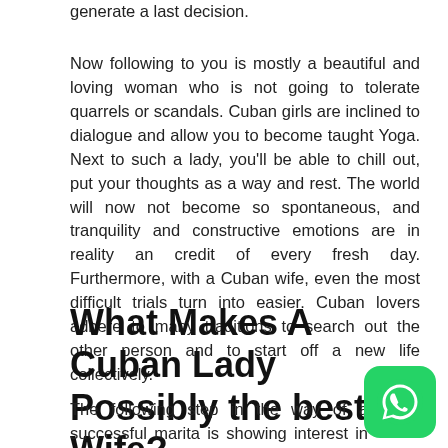generate a last decision.
Now following to you is mostly a beautiful and loving woman who is not going to tolerate quarrels or scandals. Cuban girls are inclined to dialogue and allow you to become taught Yoga. Next to such a lady, you'll be able to chill out, put your thoughts as a way and rest. The world will now not become so spontaneous, and tranquility and constructive emotions are in reality an credit of every fresh day. Furthermore, with a Cuban wife, even the most difficult trials turn into easier. Cuban lovers adhere to many traditions to search out the other person and to start off a new life collectively.
What Makes A Cuban Lady Possibly the best Wife?
The following step in the way of a successful marital is showing interest in a companion. You need to be